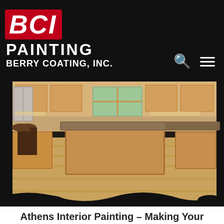BCI PAINTING BERRY COATING, INC.
[Figure (photo): Interior kitchen photo showing wooden cabinets, granite island countertops, bar stools, stainless steel refrigerator, and a window with exterior view]
Athens Interior Painting – Making Your Home Look More Attractive
To apply interior painting in your home to improve its aesthetic value can really be a wonderful investment. This is especially true when you have